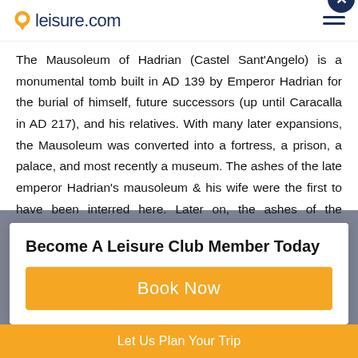leisure.com
The Mausoleum of Hadrian (Castel Sant'Angelo) is a monumental tomb built in AD 139 by Emperor Hadrian for the burial of himself, future successors (up until Caracalla in AD 217), and his relatives. With many later expansions, the Mausoleum was converted into a fortress, a prison, a palace, and most recently a museum. The ashes of the late emperor Hadrian's mausoleum & his wife were the first to have been interred here. Later on, the ashes of the subsequent emperors and their families were also deposited here.
Become A Leisure Club Member Today
Book Now
Let Us Plan Your Trip